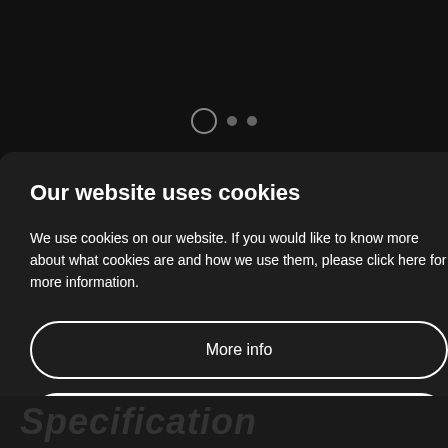[Figure (screenshot): Dark background top area with three navigation dots — one outlined circle and two small filled dots]
Our website uses cookies
We use cookies on our website. If you would like to know more about what cookies are and how we use them, please click here for more information.
More info
Accept
Specification